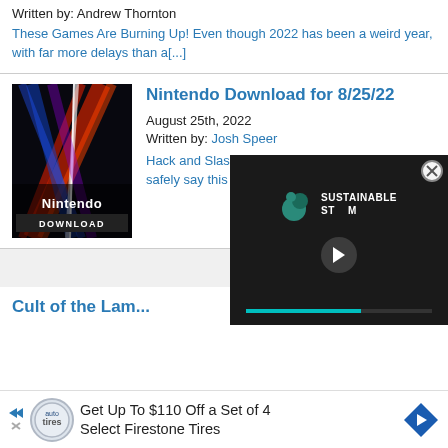Written by: Andrew Thornton
These Games Are Burning Up! Even though 2022 has been a weird year, with far more delays than a[...]
[Figure (photo): Nintendo Download thumbnail with neon light streaks on dark background, text reads 'Nintendo DOWNLOAD']
Nintendo Download for 8/25/22
August 25th, 2022
Written by: Josh Speer
Hack and Slash   Well guys and gals, I think I can safely say this is a radical Nintend[...]
[Figure (screenshot): Video player overlay with Sustainable Steam logo and play button, teal progress bar at bottom]
Cult of the Lam...
Get Up To $110 Off a Set of 4 Select Firestone Tires